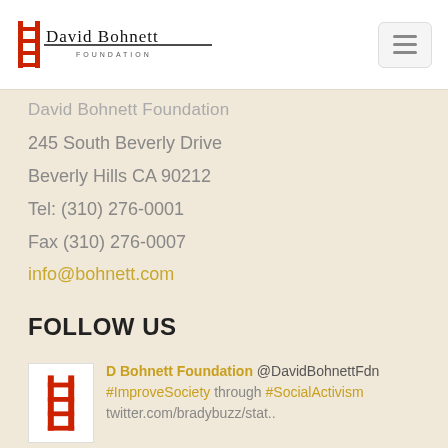David Bohnett Foundation — logo and navigation
David Bohnett Foundation
245 South Beverly Drive
Beverly Hills CA 90212
Tel: (310) 276-0001
Fax (310) 276-0007
info@bohnett.com
FOLLOW US
D Bohnett Foundation @DavidBohnettFdn
#ImproveSociety through #SocialActivism
twitter.com/bradybuzz/stat..